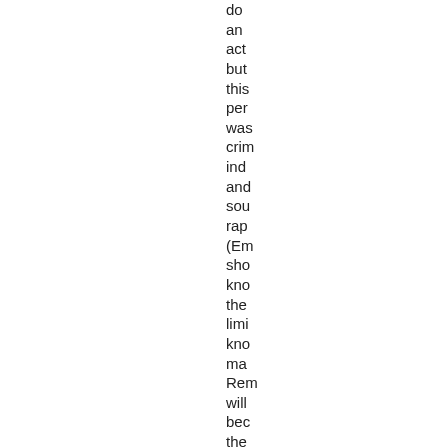do
an
act
but
this
per
was
crim
ind
and
sou
rap
(Em
sho
kno
the
limi
kno
ma
Rem
will
bec
the
fut